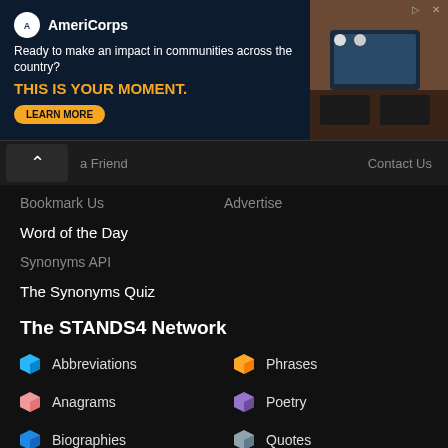[Figure (photo): AmeriCorps advertisement banner: 'Ready to make an impact in communities across the country? THIS IS YOUR MOMENT. LEARN MORE' with photo of people at computers on the right side.]
a Friend   Contact Us
Bookmark Us   Advertise
Word of the Day
Synonyms API
The Synonyms Quiz
The STANDS4 Network
Abbreviations   Phrases
Anagrams   Poetry
Biographies   Quotes
Conversions   References
Calculators   Rhymes
Definitions   Scribes